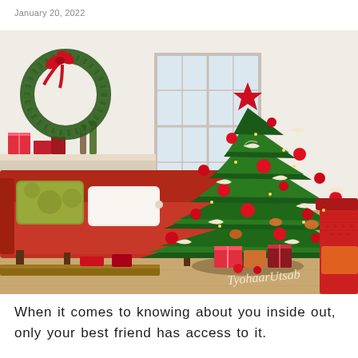January 20, 2022
[Figure (photo): Christmas-decorated living room with a large green Christmas tree adorned with red ornaments and white/cream paper bird decorations, a green wreath with red ribbon on the wall, a red sofa with green and white pillows, gifts under the tree, a white mantle with items on it, and a partially visible red chair on the right. Watermark text 'TyohaarUtsab' in cursive at bottom right.]
When it comes to knowing about you inside out, only your best friend has access to it.